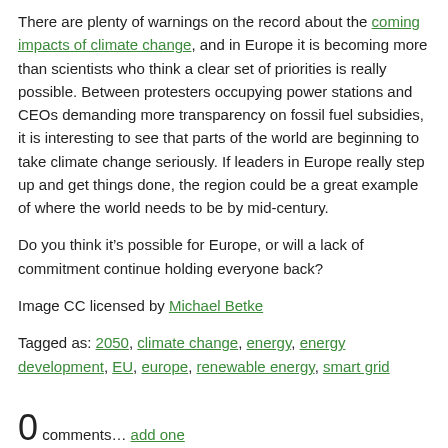There are plenty of warnings on the record about the coming impacts of climate change, and in Europe it is becoming more than scientists who think a clear set of priorities is really possible. Between protesters occupying power stations and CEOs demanding more transparency on fossil fuel subsidies, it is interesting to see that parts of the world are beginning to take climate change seriously. If leaders in Europe really step up and get things done, the region could be a great example of where the world needs to be by mid-century.
Do you think it’s possible for Europe, or will a lack of commitment continue holding everyone back?
Image CC licensed by Michael Betke
Tagged as: 2050, climate change, energy, energy development, EU, europe, renewable energy, smart grid
0 comments… add one
Leave a Comment